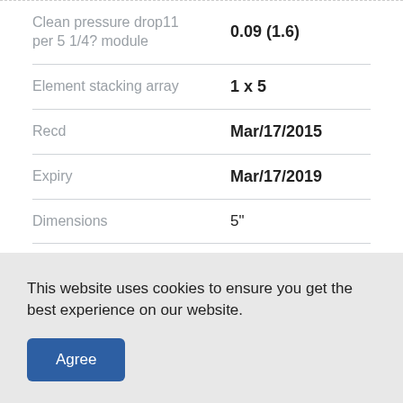| Property | Value |
| --- | --- |
| Clean pressure drop11 per 5 1/4? module | 0.09 (1.6) |
| Element stacking array | 1 x 5 |
| Recd | Mar/17/2015 |
| Expiry | Mar/17/2019 |
| Dimensions | 5" |
| Weight | 0.5 lbs |
This website uses cookies to ensure you get the best experience on our website.
Agree